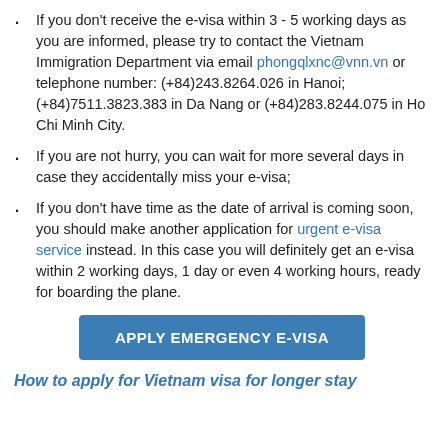If you don't receive the e-visa within 3 - 5 working days as you are informed, please try to contact the Vietnam Immigration Department via email phongqlxnc@vnn.vn or telephone number: (+84)243.8264.026 in Hanoi; (+84)7511.3823.383 in Da Nang or (+84)283.8244.075 in Ho Chi Minh City.
If you are not hurry, you can wait for more several days in case they accidentally miss your e-visa;
If you don't have time as the date of arrival is coming soon, you should make another application for urgent e-visa service instead. In this case you will definitely get an e-visa within 2 working days, 1 day or even 4 working hours, ready for boarding the plane.
[Figure (other): Blue button labeled APPLY EMERGENCY E-VISA]
How to apply for Vietnam visa for longer stay